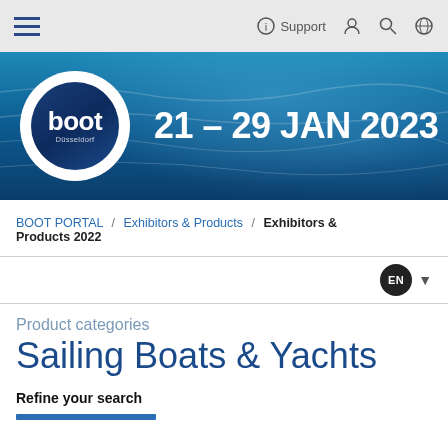Navigation bar with hamburger menu, Support, user, search, and globe icons
[Figure (illustration): Boot Düsseldorf 21-29 JAN 2023 banner with blue water background, white circular logo with 'boot Düsseldorf' text, and date text '21 – 29 JAN 2023' in white bold font]
BOOT PORTAL / Exhibitors & Products / Exhibitors & Products 2022
EN dropdown language selector
Product categories
Sailing Boats & Yachts
Refine your search